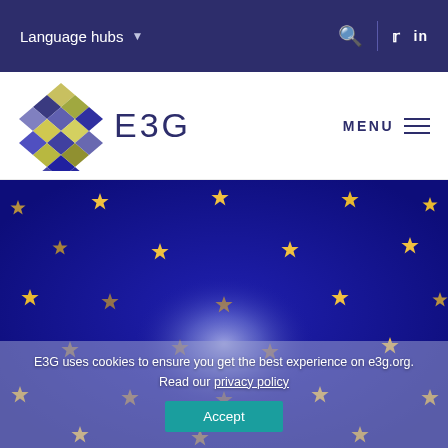Language hubs
[Figure (logo): E3G hexagonal logo with colorful diamond pattern segments in yellow, blue, purple, and gray, next to the text 'E3G']
[Figure (photo): Blurred EU flag background with golden stars on deep blue, with cloud-like white blur in center]
E3G uses cookies to ensure you get the best experience on e3g.org. Read our privacy policy
Accept